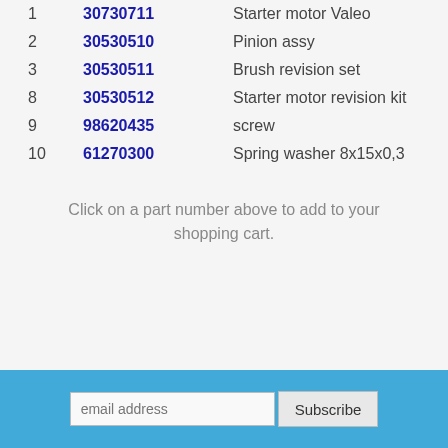1  30730711  Starter motor Valeo
2  30530510  Pinion assy
3  30530511  Brush revision set
8  30530512  Starter motor revision kit
9  98620435  screw
10  61270300  Spring washer 8x15x0,3
Click on a part number above to add to your shopping cart.
email address  Subscribe